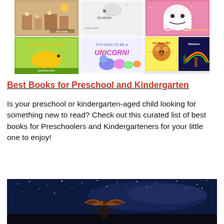[Figure (photo): Collage of children's book covers including Unicorn, Dinosaur Kisses, Can Bears Ski?, and others arranged in a grid]
Best Books for Preschool and Kindergarten
Is your preschool or kindergarten-aged child looking for something new to read? Check out this curated list of best books for Preschoolers and Kindergarteners for your little one to enjoy!
[Figure (photo): Child holding a large bird (eagle or hawk) silhouetted against a night sky with stars and Milky Way]